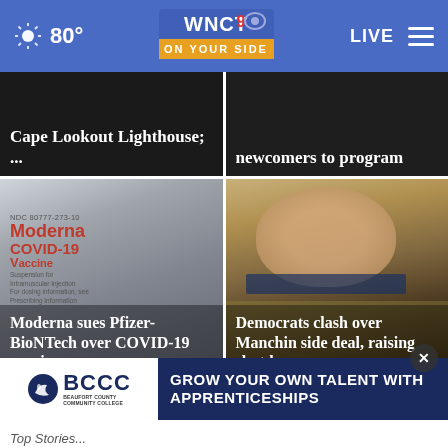80° WNCT 9 ON YOUR SIDE LIVE
[Figure (screenshot): Top-left news card: Cape Lookout Lighthouse headline partially visible at top]
[Figure (screenshot): Top-right news card: 'newcomers to program' headline]
[Figure (photo): Moderna COVID-19 vaccine vial close-up photo with label showing NDC 80777-273-10]
Moderna sues Pfizer-BioNTech over COVID-19 vaccine ...
[Figure (photo): Elderly man in dark suit, appearing to be a politician (Joe Manchin)]
Democrats clash over Manchin side deal, raising shutdown...
[Figure (screenshot): BCCC Beaufort County Community College advertisement: GROW YOUR OWN TALENT WITH APPRENTICESHIPS]
Top Stories...